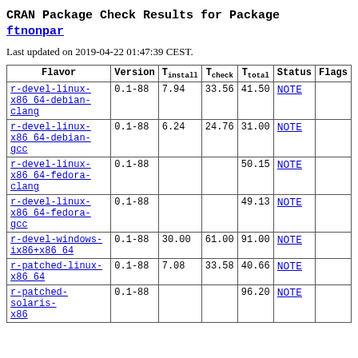CRAN Package Check Results for Package ftnonpar
Last updated on 2019-04-22 01:47:39 CEST.
| Flavor | Version | T_install | T_check | T_total | Status | Flags |
| --- | --- | --- | --- | --- | --- | --- |
| r-devel-linux-x86_64-debian-clang | 0.1-88 | 7.94 | 33.56 | 41.50 | NOTE |  |
| r-devel-linux-x86_64-debian-gcc | 0.1-88 | 6.24 | 24.76 | 31.00 | NOTE |  |
| r-devel-linux-x86_64-fedora-clang | 0.1-88 |  |  | 50.15 | NOTE |  |
| r-devel-linux-x86_64-fedora-gcc | 0.1-88 |  |  | 49.13 | NOTE |  |
| r-devel-windows-ix86+x86_64 | 0.1-88 | 30.00 | 61.00 | 91.00 | NOTE |  |
| r-patched-linux-x86_64 | 0.1-88 | 7.08 | 33.58 | 40.66 | NOTE |  |
| r-patched-solaris-x86 | 0.1-88 |  |  | 96.20 | NOTE |  |